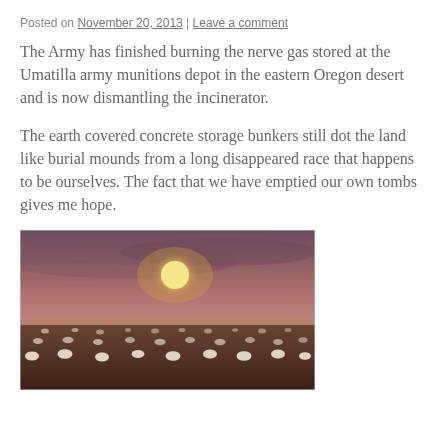Posted on November 20, 2013 | Leave a comment
The Army has finished burning the nerve gas stored at the Umatilla army munitions depot in the eastern Oregon desert and is now dismantling the incinerator.
The earth covered concrete storage bunkers still dot the land like burial mounds from a long disappeared race that happens to be ourselves. The fact that we have emptied our own tombs gives me hope.
[Figure (photo): Sunset or dusk landscape over a flat desert plain with numerous small white dome-shaped bunkers dotting the ground beneath a hazy reddish-purple sky with a glowing sun.]